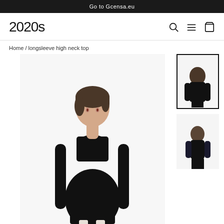Go to Gcensa.eu
2020s
Home / longsleeve high neck top
[Figure (photo): Model wearing a black longsleeve high neck top, shown from front, dark short hair]
[Figure (photo): Thumbnail 1 (with black border): model from behind wearing black outfit]
[Figure (photo): Thumbnail 2: model from behind wearing black outfit, no border]